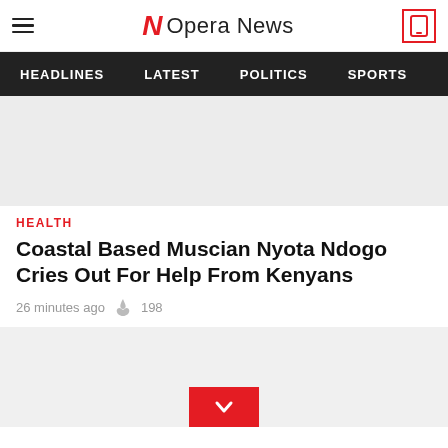Opera News
HEADLINES  LATEST  POLITICS  SPORTS
[Figure (other): Gray advertisement placeholder banner]
HEALTH
Coastal Based Muscian Nyota Ndogo Cries Out For Help From Kenyans
26 minutes ago  198
[Figure (other): Gray advertisement placeholder with red download/expand button at bottom center]